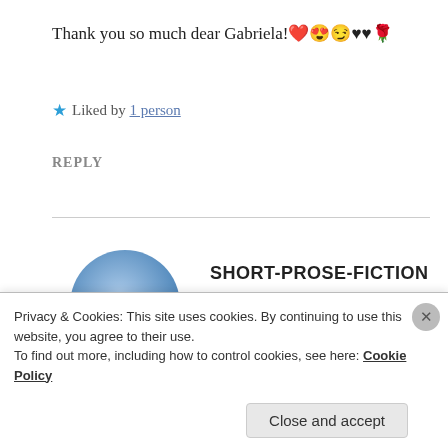Thank you so much dear Gabriela! ❤️😍😏♥♥ 🌹
★ Liked by 1 person
REPLY
[Figure (illustration): Blue circular avatar image for user SHORT-PROSE-FICTION]
SHORT-PROSE-FICTION
Aug 20, 2020 at 8:39 am
My pleasure sweetheart 🌹❤️🌹❤️🌹❤️
Privacy & Cookies: This site uses cookies. By continuing to use this website, you agree to their use.
To find out more, including how to control cookies, see here: Cookie Policy
Close and accept